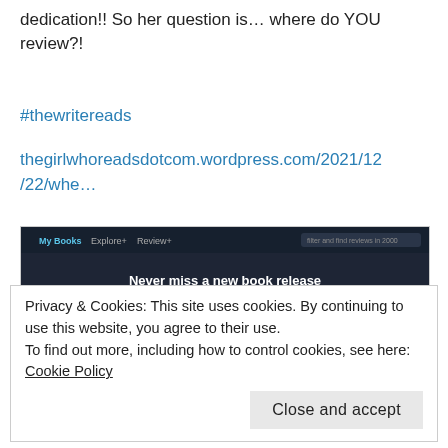dedication!! So her question is… where do YOU review?!
#thewritereads
thegirlwhoreadsdotcom.wordpress.com/2021/12/22/whe…
[Figure (screenshot): Screenshot of a dark-themed book tracking website showing 'Never miss a new book release' header with features like Log your reads, Release calendar, Follow series, Special editions, and a Coming soon section showing book covers including Green Glass Ghosts, Outer Banks, Here's To, and Villain.]
Privacy & Cookies: This site uses cookies. By continuing to use this website, you agree to their use.
To find out more, including how to control cookies, see here: Cookie Policy
Close and accept